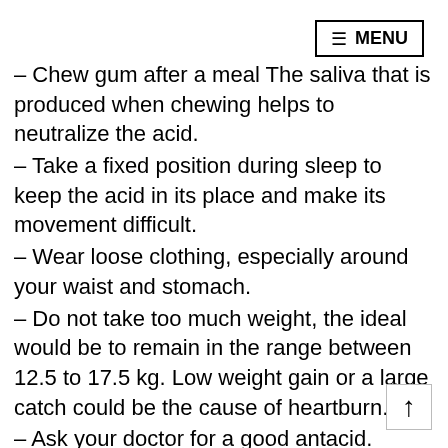≡ MENU
– Chew gum after a meal The saliva that is produced when chewing helps to neutralize the acid.
– Take a fixed position during sleep to keep the acid in its place and make its movement difficult.
– Wear loose clothing, especially around your waist and stomach.
– Do not take too much weight, the ideal would be to remain in the range between 12.5 to 17.5 kg. Low weight gain or a large catch could be the cause of heartburn.
– Ask your doctor for a good antacid. Start with a drug such as Tums, if it does not work, you can place heavy artillery as Prevacid (you can buy generic